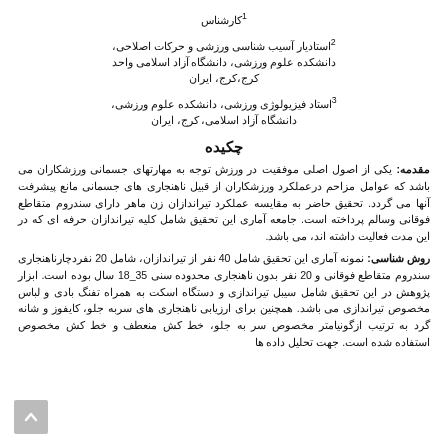کارشناس¹
²استادیار آسیب شناسی ورزشی و حرکات اصلاحی، دانشکده علوم ورزشی، دانشگاه آزاد اسلامی واحد کرج،کرج، ایران
³استاد فیزیولوژی ورزشی، دانشکده علوم ورزشی، دانشگاه آزاد اسلامی، کرج، ایران
چکیده
مقدمه: یکی از اصول اصلی موفقیت در ورزش توجه به مهارتهای جسمانی ورزشکاران می باشد که عوامل مزاحم درعملکرد ورزشکاران از قبیل ناهنجاری های جسمانی مانع پیشرفت آنها می گردد. تحقیق حاضر به مقایسه عملکرد تیراندازان زن ماهر دارای سندروم متقاطع فوقانی وسالم پرداخته است. جامعه آماری این تحقیق شامل کلیه تیراندازان حرفه ای که در این مدت فعالیت داشته اند، می باشد.
روش شناسی: نمونه آماری این تحقیق شامل 40 نفر از تیراندازان، شامل 20 نفردچارناهنجاری سندروم متقاطع فوقانی و 20 نفر بدون ناهنجاری محدوده سنی 18_35 سال بوده است. ابزار پژوهش در این تحقیق شامل سیبل تیراندازی و دستگاه اسکت به همراه تفنگ بادی و لباس مخصوص تیراندازی می باشد. همچنین برای ارزیابی ناهنجاری های سربه جلو، کایفوز و شانه گرد به ترتیب ازگونیامتر مخصوص سر به جلو، خط کش منعطف و خط کش مخصوص استفاده شده است. جهت تحلیل داده ها